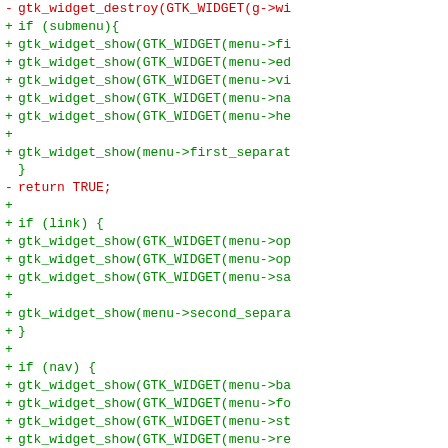[Figure (screenshot): A code diff view showing removed lines in red and added lines in green. The diff shows C code related to GTK widget show/hide operations for menu items.]